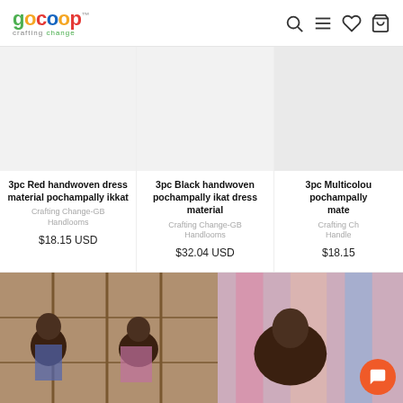GoCoop - Crafting Change
3pc Red handwoven dress material pochampally ikkat
Crafting Change-GB Handlooms
$18.15 USD
3pc Black handwoven pochampally ikat dress material
Crafting Change-GB Handlooms
$32.04 USD
3pc Multicolou pochampally mate
Crafting Ch Handle
$18.15
[Figure (photo): Two women working at a handloom weaving setup, outdoor setting]
[Figure (photo): Woman with colorful fabric/garments in background, chat button overlay]